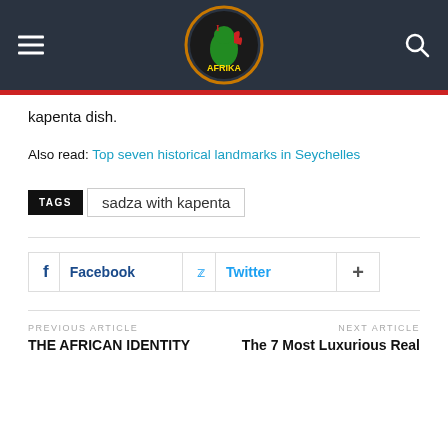[Figure (logo): I Love Afrika website logo in circular frame on dark header with hamburger menu and search icon]
kapenta dish.
Also read: Top seven historical landmarks in Seychelles
TAGS sadza with kapenta
[Figure (other): Social sharing buttons: Facebook, Twitter, and plus]
PREVIOUS ARTICLE THE AFRICAN IDENTITY
NEXT ARTICLE The 7 Most Luxurious Real